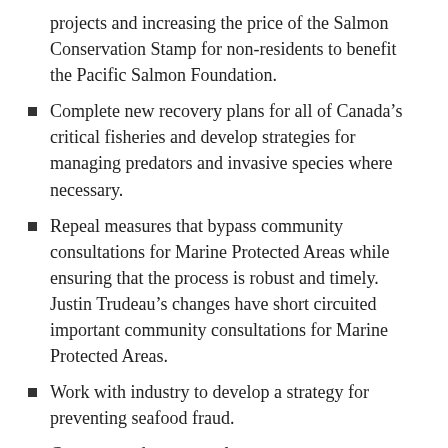projects and increasing the price of the Salmon Conservation Stamp for non-residents to benefit the Pacific Salmon Foundation.
Complete new recovery plans for all of Canada's critical fisheries and develop strategies for managing predators and invasive species where necessary.
Repeal measures that bypass community consultations for Marine Protected Areas while ensuring that the process is robust and timely. Justin Trudeau's changes have short circuited important community consultations for Marine Protected Areas.
Work with industry to develop a strategy for preventing seafood fraud.
Create a modern aquaculture act.
Support the advancement of technology and